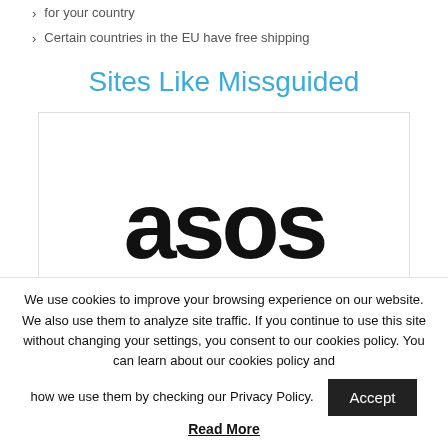for your country
Certain countries in the EU have free shipping
Sites Like Missguided
[Figure (logo): ASOS logo in large black bold text on a white background inside a bordered box]
We use cookies to improve your browsing experience on our website. We also use them to analyze site traffic. If you continue to use this site without changing your settings, you consent to our cookies policy. You can learn about our cookies policy and how we use them by checking our Privacy Policy.
Accept
Read More